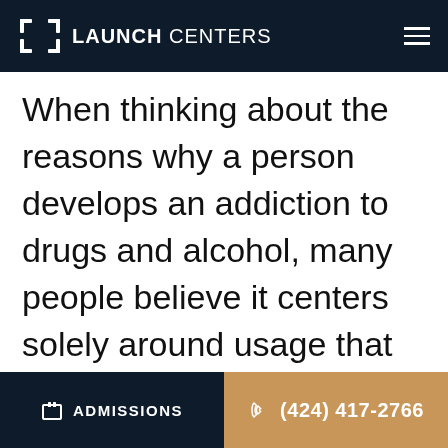LAUNCH CENTERS
When thinking about the reasons why a person develops an addiction to drugs and alcohol, many people believe it centers solely around usage that got out of control. When a person begins treatment for a
ADMISSIONS   (424) 417-2766